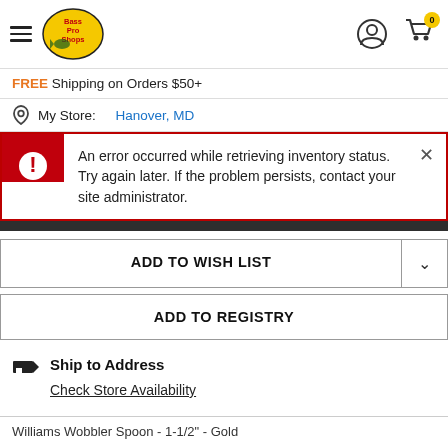[Figure (screenshot): Bass Pro Shops website header with hamburger menu, logo, user icon, and shopping cart with 0 items badge]
FREE Shipping on Orders $50+
My Store: Hanover, MD
An error occurred while retrieving inventory status. Try again later. If the problem persists, contact your site administrator.
ADD TO WISH LIST
ADD TO REGISTRY
Ship to Address
Check Store Availability
Williams Wobbler Spoon - 1-1/2" - Gold